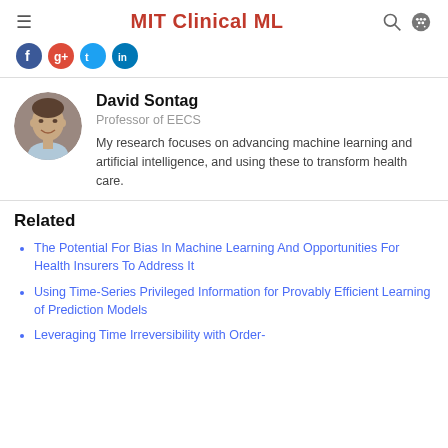MIT Clinical ML
[Figure (illustration): Social media icons (Facebook, Google+, Twitter, LinkedIn) shown as colored circles in a horizontal row at the top of the page]
[Figure (photo): Circular headshot photo of David Sontag, a man smiling, with short dark hair]
David Sontag
Professor of EECS
My research focuses on advancing machine learning and artificial intelligence, and using these to transform health care.
Related
The Potential For Bias In Machine Learning And Opportunities For Health Insurers To Address It
Using Time-Series Privileged Information for Provably Efficient Learning of Prediction Models
Leveraging Time Irreversibility with Order-